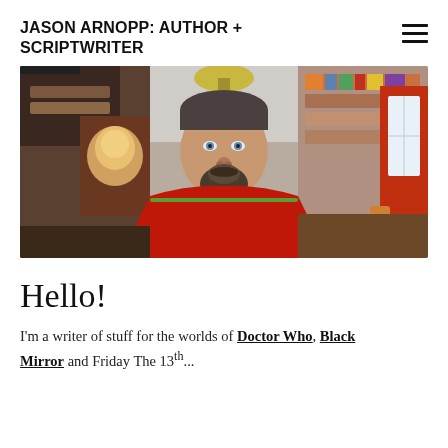JASON ARNOPP: AUTHOR + SCRIPTWRITER
[Figure (photo): Portrait photo of Jason Arnopp, a man with short dark hair and a goatee beard, wearing a red t-shirt, seated in front of bookshelves and horror memorabilia in his home office.]
Hello!
I'm a writer of stuff for the worlds of Doctor Who, Black Mirror and Friday The 13th...